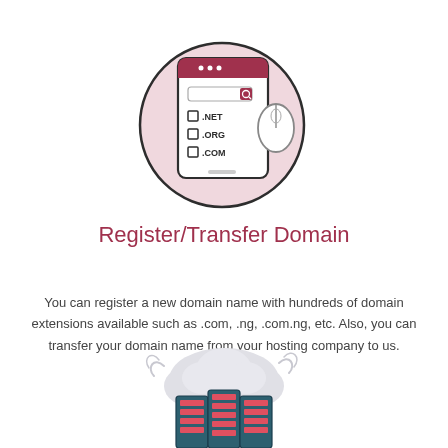[Figure (illustration): Domain registration illustration: a circle background with a tablet/phone showing a search bar and domain extension checkboxes (.NET, .ORG, .COM), with a computer mouse to the right.]
Register/Transfer Domain
You can register a new domain name with hundreds of domain extensions available such as .com, .ng, .com.ng, etc. Also, you can transfer your domain name from your hosting company to us.
[Figure (illustration): Cloud hosting illustration: a cloud shape with decorative swirls around it, and server/data center blocks below the cloud.]